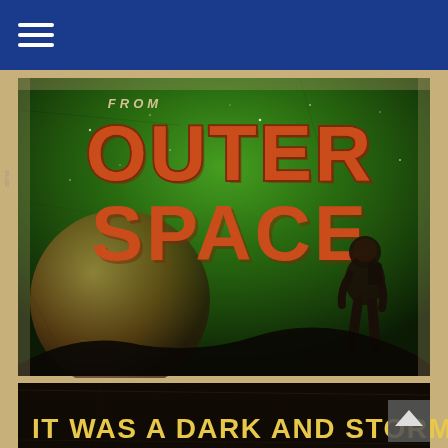Navigation bar with hamburger menu icon
[Figure (illustration): Vintage retro science fiction book or movie poster with distressed/aged appearance. Dark green atmospheric background with stars, a large planetary body, and a silhouetted astronaut figure. Bold text reads 'FROM OUTER SPACE' in large orange/red retro-style block letters at the top. Bottom portion shows a dark banner with yellow bold text reading 'IT WAS A DARK AND STORMY'. A scroll-up arrow button is visible at the bottom right.]